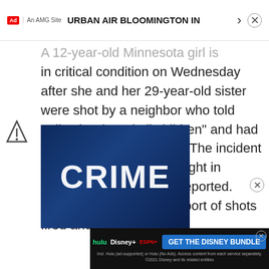URBAN AIR BLOOMINGTON IN | Ad | An AMG Site
his wife. Gone…
A 12-year-old Minnesota girl is in critical condition on Wednesday after she and her 29-year-old sister were shot by a neighbor who told police he “hated all children” and had “probably” killed his wife. The incident took place late Sunday night in Bloomington, KARE 11 reported. Police responded to a report of shots fired and …
[Figure (screenshot): Dark blue geometric background with large white bold text reading CRIME]
[Figure (screenshot): Disney Bundle advertisement showing Hulu, Disney+, ESPN+ logos with GET THE DISNEY BUNDLE button and fine print]